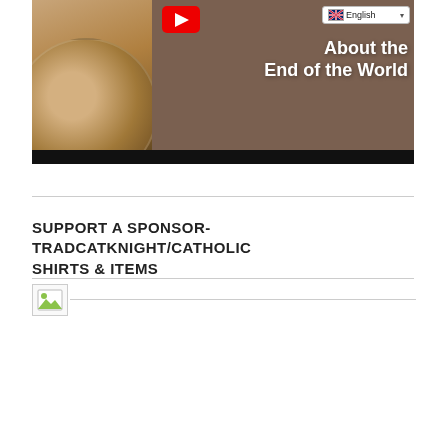[Figure (screenshot): YouTube video thumbnail showing an elderly bearded figure in a painting, with a YouTube play button overlay, English language selector in top right, and large white text reading 'About the End of the World' on a brown background]
SUPPORT A SPONSOR- TRADCATKNIGHT/CATHOLIC SHIRTS & ITEMS
[Figure (illustration): Broken/missing image placeholder icon]